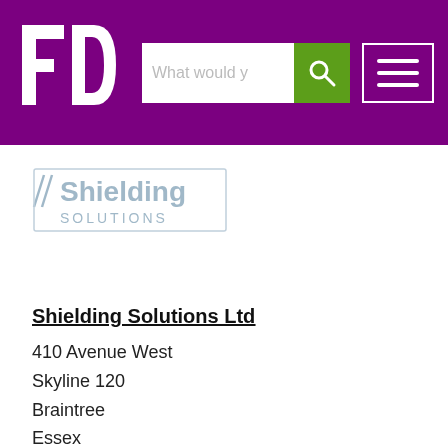FD logo header with search bar and hamburger menu
[Figure (logo): Shielding Solutions logo with lightning bolt and text]
Shielding Solutions Ltd
410 Avenue West
Skyline 120
Braintree
Essex
CM77 7AA